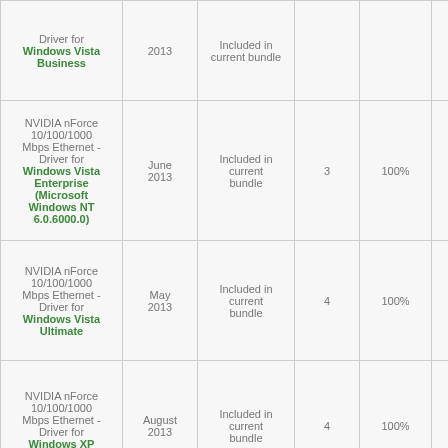| Driver for Windows Vista Business | 2013 | Included in current bundle |  |  |  |
| NVIDIA nForce 10/100/1000 Mbps Ethernet - Driver for Windows Vista Enterprise (Microsoft Windows NT 6.0.6000.0) | June 2013 | Included in current bundle | 3 | 100% | - |
| NVIDIA nForce 10/100/1000 Mbps Ethernet - Driver for Windows Vista Ultimate | May 2013 | Included in current bundle | 4 | 100% | - |
| NVIDIA nForce 10/100/1000 Mbps Ethernet - Driver for Windows XP Starter Edition | August 2013 | Included in current bundle | 4 | 100% | - |
| NVIDIA nForce 10/100/1000 Mbps Ethernet - |  |  |  |  |  |